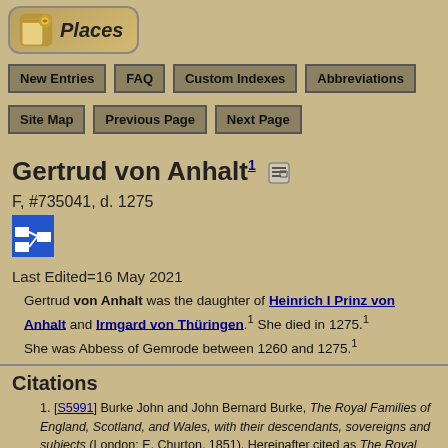Places
New Entries | FAQ | Custom Indexes | Abbreviations
Site Map | Previous Page | Next Page
Gertrud von Anhalt
F, #735041, d. 1275
Last Edited=16 May 2021
Gertrud von Anhalt was the daughter of Heinrich I Prinz von Anhalt and Irmgard von Thüringen.1 She died in 1275.1 She was Abbess of Gemrode between 1260 and 1275.1
Citations
[S5991] Burke John and John Bernard Burke, The Royal Families of England, Scotland, and Wales, with their descendants, sovereigns and subjects (London: E. Churton, 1851). Hereinafter cited as The Royal Families.